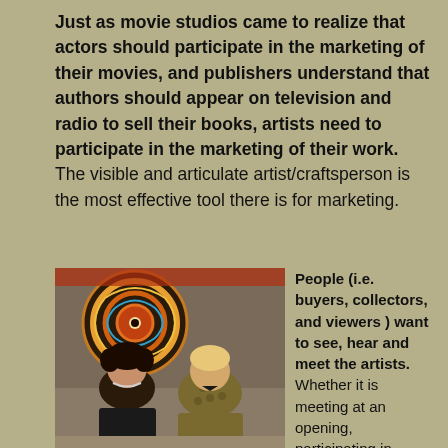Just as movie studios came to realize that actors should participate in the marketing of their movies, and publishers understand that authors should appear on television and radio to sell their books, artists need to participate in the marketing of their work. The visible and articulate artist/craftsperson is the most effective tool there is for marketing.
[Figure (photo): Two women standing in front of colorful artwork. Left woman has dark curly hair and necklace. Right woman is blonde. Photo labeled Harriete E Berman & Alyson Stanfield.]
Harriete E Berman & Alyson Stanfield
People (i.e. buyers, collectors, and viewers ) want to see, hear and meet the artists. Whether it is meeting at an opening, participating in social networks, offering to do interviews, writing